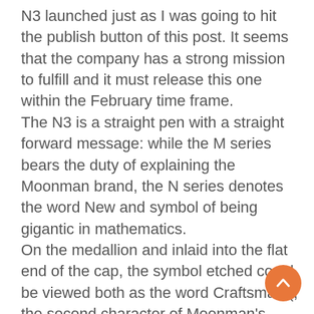N3 launched just as I was going to hit the publish button of this post. It seems that the company has a strong mission to fulfill and it must release this one within the February time frame. The N3 is a straight pen with a straight forward message: while the M series bears the duty of explaining the Moonman brand, the N series denotes the word New and symbol of being gigantic in mathematics. On the medallion and inlaid into the flat end of the cap, the symbol etched could be viewed both as the word Craftsman (, the second character of Moonman's Chinese name ) or an exaggerated n. Either way, the logo also retains a little similarity to a crescent. As for the nib, the N3 is also honest: it is a Chinese nib that could hold a candle against